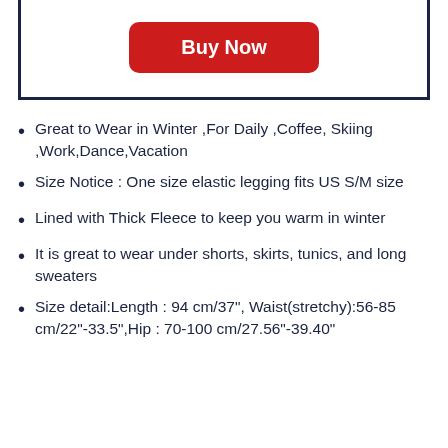[Figure (other): Buy Now button inside a dark navy bordered box]
Great to Wear in Winter ,For Daily ,Coffee, Skiing ,Work,Dance,Vacation
Size Notice : One size elastic legging fits US S/M size
Lined with Thick Fleece to keep you warm in winter
It is great to wear under shorts, skirts, tunics, and long sweaters
Size detail:Length : 94 cm/37", Waist(stretchy):56-85 cm/22"-33.5",Hip : 70-100 cm/27.56"-39.40"